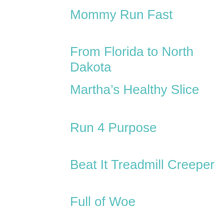Mommy Run Fast
From Florida to North Dakota
Martha’s Healthy Slice
Run 4 Purpose
Beat It Treadmill Creeper
Full of Woe
Now for the fun part, who won the prizes?
PRIZES